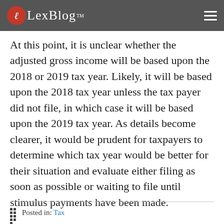LexBlog
At this point, it is unclear whether the adjusted gross income will be based upon the 2018 or 2019 tax year. Likely, it will be based upon the 2018 tax year unless the tax payer did not file, in which case it will be based upon the 2019 tax year. As details become clearer, it would be prudent for taxpayers to determine which tax year would be better for their situation and evaluate either filing as soon as possible or waiting to file until stimulus payments have been made.
Posted in: Tax